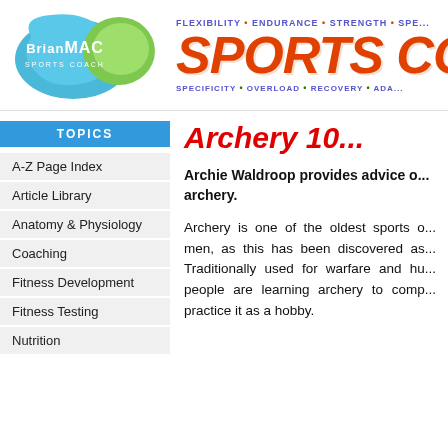[Figure (logo): BrianMAC Sports Coach logo - blue and green speech bubble shapes with white text]
[Figure (logo): Sports Coach website header with orange italic large text 'SPORTS CO' and blue text 'FLEXIBILITY • ENDURANCE • STRENGTH • SPE...' above and 'SPECIFICITY • OVERLOAD • RECOVERY • ADA...' below]
Archery 10...
Archie Waldroop provides advice on archery.
TOPICS
A-Z Page Index
Article Library
Anatomy & Physiology
Coaching
Fitness Development
Fitness Testing
Nutrition
Archery is one of the oldest sports of men, as this has been discovered as... Traditionally used for warfare and hu... people are learning archery to comp... practice it as a hobby.